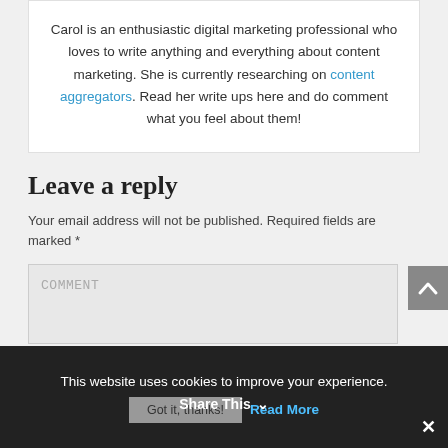Carol is an enthusiastic digital marketing professional who loves to write anything and everything about content marketing. She is currently researching on content aggregators. Read her write ups here and do comment what you feel about them!
Leave a reply
Your email address will not be published. Required fields are marked *
COMMENT
This website uses cookies to improve your experience.
Got it, thanks!  Read More
Share This